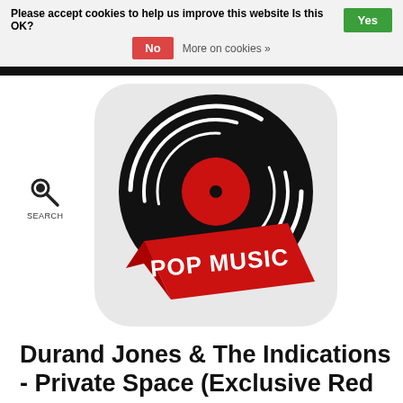Please accept cookies to help us improve this website Is this OK? Yes No More on cookies »
[Figure (logo): Pop Music vinyl record logo sticker — black vinyl record with white grooves on a white rounded background, red diagonal banner across the lower portion reading 'POP MUSIC' in bold white text]
[Figure (illustration): Search magnifying glass icon with label 'SEARCH' below]
Durand Jones & The Indications - Private Space (Exclusive Red Nebula Vinyl)